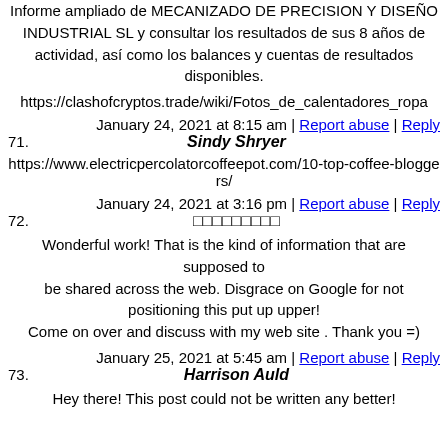Informe ampliado de MECANIZADO DE PRECISION Y DISEÑO INDUSTRIAL SL y consultar los resultados de sus 8 años de actividad, así como los balances y cuentas de resultados disponibles.
https://clashofcryptos.trade/wiki/Fotos_de_calentadores_ropa
January 24, 2021 at 8:15 am | Report abuse | Reply
71. Sindy Shryer
https://www.electricpercolatorcoffeepot.com/10-top-coffee-bloggers/
January 24, 2021 at 3:16 pm | Report abuse | Reply
72. (non-latin characters)
Wonderful work! That is the kind of information that are supposed to be shared across the web. Disgrace on Google for not positioning this put up upper! Come on over and discuss with my web site . Thank you =)
January 25, 2021 at 5:45 am | Report abuse | Reply
73. Harrison Auld
Hey there! This post could not be written any better!